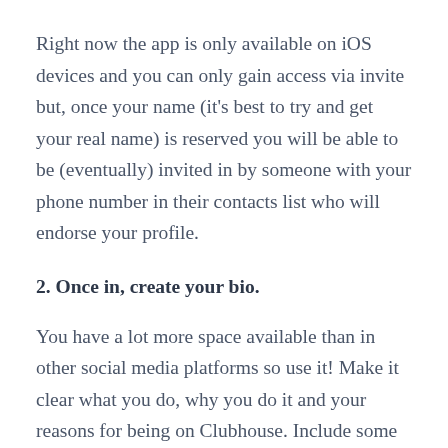Right now the app is only available on iOS devices and you can only gain access via invite but, once your name (it's best to try and get your real name) is reserved you will be able to be (eventually) invited in by someone with your phone number in their contacts list who will endorse your profile.
2. Once in, create your bio.
You have a lot more space available than in other social media platforms so use it! Make it clear what you do, why you do it and your reasons for being on Clubhouse. Include some random fun facts about